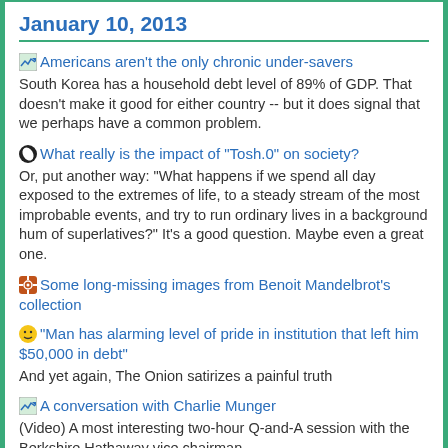January 10, 2013
Americans aren't the only chronic under-savers
South Korea has a household debt level of 89% of GDP. That doesn't make it good for either country -- but it does signal that we perhaps have a common problem.
What really is the impact of "Tosh.0" on society?
Or, put another way: "What happens if we spend all day exposed to the extremes of life, to a steady stream of the most improbable events, and try to run ordinary lives in a background hum of superlatives?" It's a good question. Maybe even a great one.
Some long-missing images from Benoit Mandelbrot's collection
"Man has alarming level of pride in institution that left him $50,000 in debt"
And yet again, The Onion satirizes a painful truth
A conversation with Charlie Munger
(Video) A most interesting two-hour Q-and-A session with the Berkshire Hathaway vice chairman